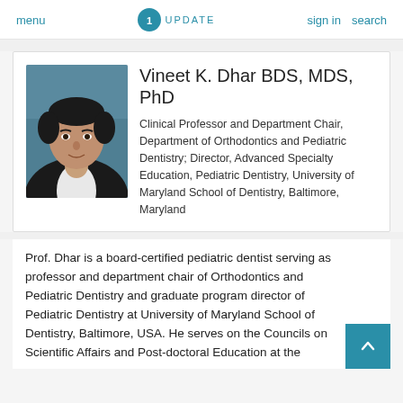menu | UPDATE | sign in | search
[Figure (photo): Headshot of Vineet K. Dhar, a man in a dark suit jacket with a light shirt, with short dark hair, photographed against a blue background.]
Vineet K. Dhar BDS, MDS, PhD
Clinical Professor and Department Chair, Department of Orthodontics and Pediatric Dentistry; Director, Advanced Specialty Education, Pediatric Dentistry, University of Maryland School of Dentistry, Baltimore, Maryland
Prof. Dhar is a board-certified pediatric dentist serving as professor and department chair of Orthodontics and Pediatric Dentistry and graduate program director of Pediatric Dentistry at University of Maryland School of Dentistry, Baltimore, USA. He serves on the Councils on Scientific Affairs and Post-doctoral Education at the